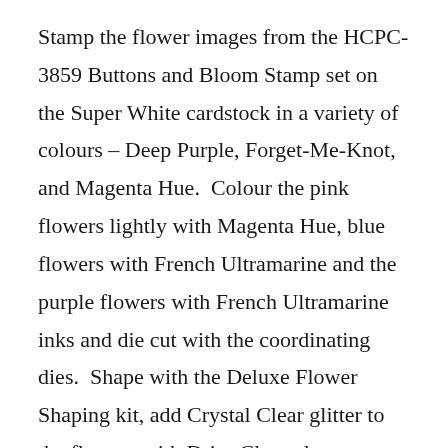Stamp the flower images from the HCPC-3859 Buttons and Bloom Stamp set on the Super White cardstock in a variety of colours – Deep Purple, Forget-Me-Knot, and Magenta Hue.  Colour the pink flowers lightly with Magenta Hue, blue flowers with French Ultramarine and the purple flowers with French Ultramarine inks and die cut with the coordinating dies.  Shape with the Deluxe Flower Shaping kit, add Crystal Clear glitter to the flowers with Dries Clear glue on a damp sponge and then adhere over the leaves as shown.
Stamp the button images from the HCPC-3859 Buttons and Bloom Stamp set on white cardstock cardstock in a variety of colours – Magenta Hue and Forget-Me-Knot inks.  Stamp more button images to from the … in Jet